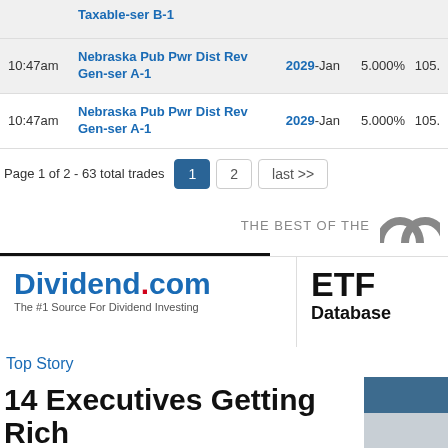| Time | Name | Year | Rate | Price |
| --- | --- | --- | --- | --- |
|  | Taxable-ser B-1 |  |  |  |
| 10:47am | Nebraska Pub Pwr Dist Rev Gen-ser A-1 | 2029-Jan | 5.000% | 105. |
| 10:47am | Nebraska Pub Pwr Dist Rev Gen-ser A-1 | 2029-Jan | 5.000% | 105. |
Page 1 of 2 - 63 total trades
THE BEST OF THE
[Figure (logo): Arch/M logo in gray]
[Figure (logo): Dividend.com logo - The #1 Source For Dividend Investing]
[Figure (logo): ETF Database logo]
Top Story
14 Executives Getting Rich